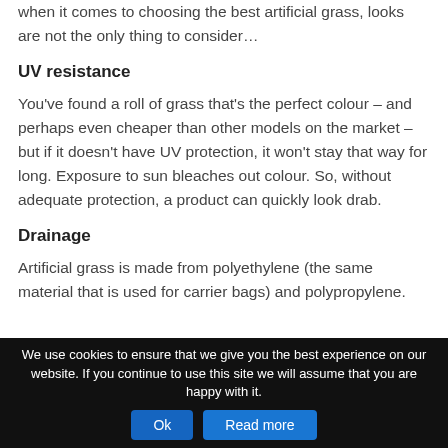when it comes to choosing the best artificial grass, looks are not the only thing to consider…
UV resistance
You've found a roll of grass that's the perfect colour – and perhaps even cheaper than other models on the market – but if it doesn't have UV protection, it won't stay that way for long. Exposure to sun bleaches out colour. So, without adequate protection, a product can quickly look drab.
Drainage
Artificial grass is made from polyethylene (the same material that is used for carrier bags) and polypropylene.
We use cookies to ensure that we give you the best experience on our website. If you continue to use this site we will assume that you are happy with it. Ok Read more